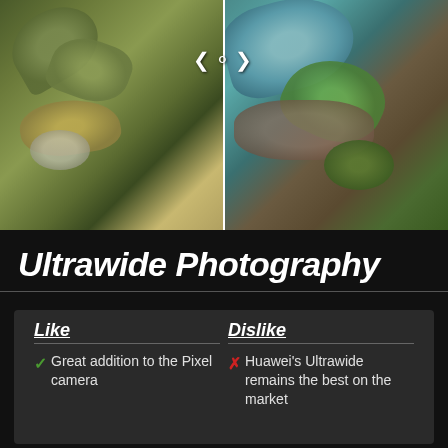[Figure (photo): Split comparison photo showing two ultrawide camera shots of succulent plants. Left side shows desaturated/muted colors, right side shows more vivid/detailed colors. A white vertical divider with left/right arrows separates the two images.]
Ultrawide Photography
Like
Great addition to the Pixel camera
Dislike
Huawei's Ultrawide remains the best on the market